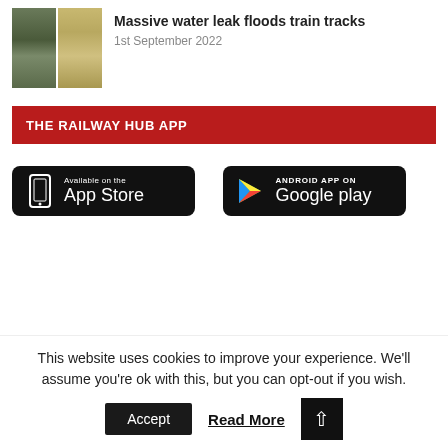[Figure (photo): Thumbnail image of train tracks flooding]
Massive water leak floods train tracks
1st September 2022
THE RAILWAY HUB APP
[Figure (screenshot): App Store download button - Available on the App Store]
[Figure (screenshot): Google Play download button - ANDROID APP ON Google play]
This website uses cookies to improve your experience. We'll assume you're ok with this, but you can opt-out if you wish.
Accept
Read More